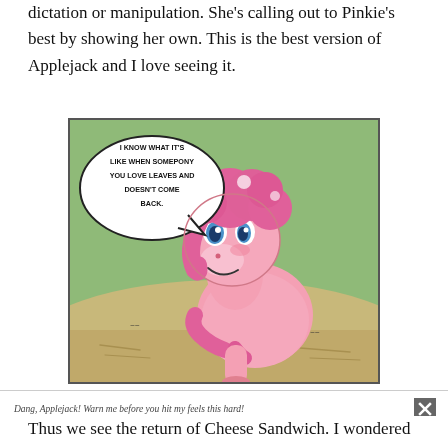dictation or manipulation. She's calling out to Pinkie's best by showing her own. This is the best version of Applejack and I love seeing it.
[Figure (illustration): Comic panel showing Pinkie Pie (pink cartoon pony) with a speech bubble reading 'I KNOW WHAT IT'S LIKE WHEN SOMEPONY YOU LOVE LEAVES AND DOESN'T COME BACK.' Set against a green background with sandy ground.]
Dang, Applejack! Warn me before you hit my feels this hard!
Thus we see the return of Cheese Sandwich. I wondered if